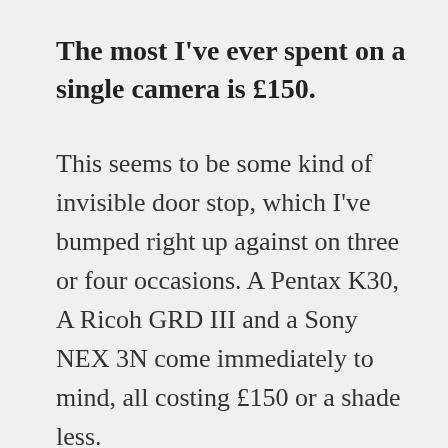The most I've ever spent on a single camera is £150.
This seems to be some kind of invisible door stop, which I've bumped right up against on three or four occasions. A Pentax K30, A Ricoh GRD III and a Sony NEX 3N come immediately to mind, all costing £150 or a shade less.